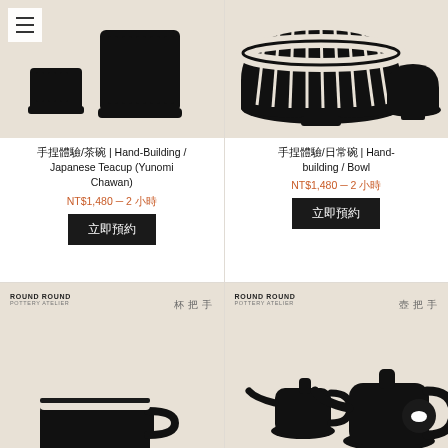[Figure (illustration): Two black ceramic cups/bowls on beige background with hamburger menu icon top-left. Left: small ribbed cup, right: tall ribbed yunomi cup.]
手捏體驗/茶碗 | Hand-Building / Japanese Teacup (Yunomi Chawan)
NT$1,480 — 2 小時
立即預約
[Figure (illustration): Two black ceramic bowls on beige background. Left: large bowl with striped pattern, right: small plain bowl.]
手捏體驗/日常碗 | Hand-building / Bowl
NT$1,480 — 2 小時
立即預約
[Figure (illustration): Beige card with ROUND ROUND POTTERY ATELIER text and vertical Chinese characters 手把杯. Bottom shows partial black mug handle.]
[Figure (illustration): Beige card with ROUND ROUND POTTERY ATELIER text and vertical Chinese characters 手把壺. Shows black teapots. Chat bubble in bottom right corner.]